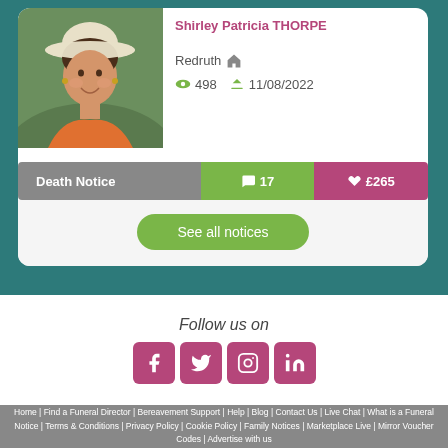[Figure (photo): Portrait photo of an elderly woman wearing a white hat and orange top, smiling, against a green outdoor background]
Shirley Patricia THORPE
Redruth
498  11/08/2022
Death Notice  17  £265
See all notices
Follow us on
[Figure (logo): Social media icons: Facebook, Twitter, Instagram, LinkedIn in pink/magenta rounded square buttons]
Home | Find a Funeral Director | Bereavement Support | Help | Blog | Contact Us | Live Chat | What is a Funeral Notice | Terms & Conditions | Privacy Policy | Cookie Policy | Family Notices | Marketplace Live | Mirror Voucher Codes | Advertise with us